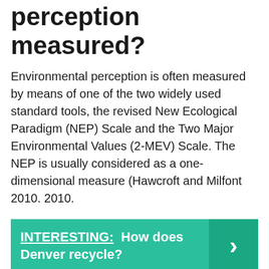perception measured?
Environmental perception is often measured by means of one of the two widely used standard tools, the revised New Ecological Paradigm (NEP) Scale and the Two Major Environmental Values (2-MEV) Scale. The NEP is usually considered as a one-dimensional measure (Hawcroft and Milfont 2010. 2010.
[Figure (infographic): Teal callout box with text 'INTERESTING: How does Denver recycle?' and a right-pointing chevron arrow on a darker teal background on the right side.]
How do physical and environmental factors influence perception?